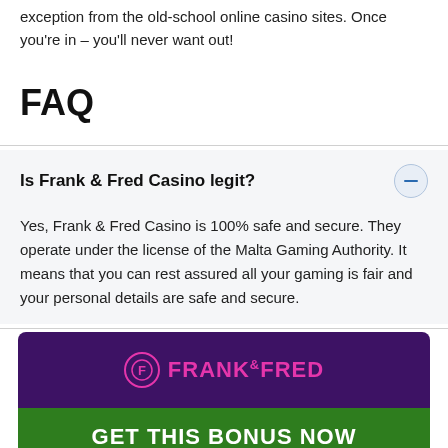exception from the old-school online casino sites. Once you're in – you'll never want out!
FAQ
Is Frank & Fred Casino legit?
Yes, Frank & Fred Casino is 100% safe and secure. They operate under the license of the Malta Gaming Authority. It means that you can rest assured all your gaming is fair and your personal details are safe and secure.
[Figure (logo): Frank & Fred casino logo in pink text on dark purple background with circular icon]
GET THIS BONUS NOW
just sign up